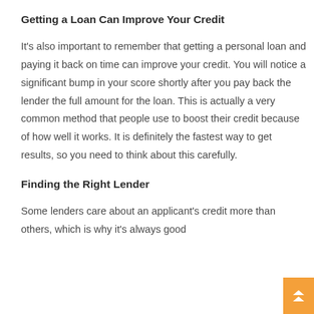Getting a Loan Can Improve Your Credit
It's also important to remember that getting a personal loan and paying it back on time can improve your credit. You will notice a significant bump in your score shortly after you pay back the lender the full amount for the loan. This is actually a very common method that people use to boost their credit because of how well it works. It is definitely the fastest way to get results, so you need to think about this carefully.
Finding the Right Lender
Some lenders care about an applicant's credit more than others, which is why it's always good